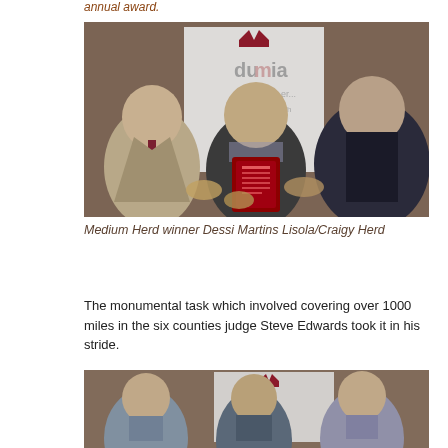annual award.
[Figure (photo): Three men standing together, the middle man holding a red award plaque. A Dunbia banner is visible in the background.]
Medium Herd winner Dessi Martins Lisola/Craigy Herd
The monumental task which involved covering over 1000 miles in the six counties judge Steve Edwards took it in his stride.
[Figure (photo): Three men standing together in front of a Dunbia banner in what appears to be a barn setting.]